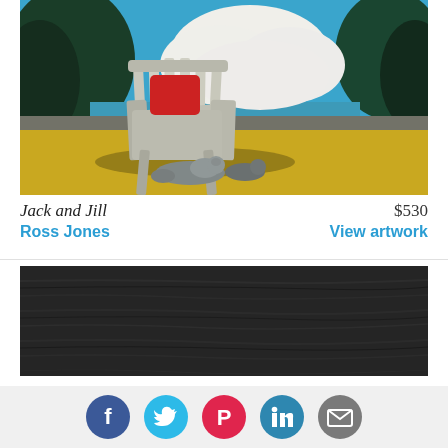[Figure (photo): Painting of a wooden Adirondack chair with a red cushion on a deck, with a sleeping cat underneath, overlooking water, with dark trees on either side and large white clouds in a blue sky.]
Jack and Jill
$530
Ross Jones
View artwork
[Figure (photo): Dark wood texture panel, dark grey/black tones with subtle wood grain pattern.]
[Figure (infographic): Social share buttons row: Facebook (dark blue), Twitter (light blue), Pinterest (red), LinkedIn (teal blue), Email (grey)]